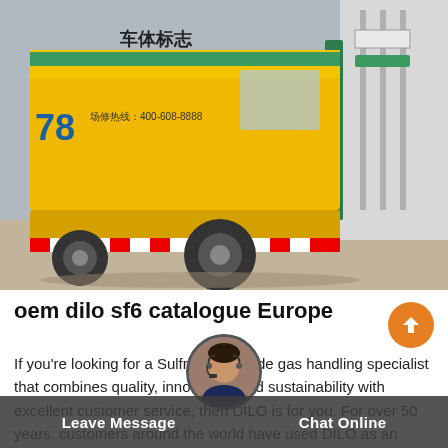[Figure (photo): Yellow utility truck with Chinese characters parked near industrial/electrical equipment. The truck has red and white striped bumpers and a green-banded cab.]
oem dilo sf6 catalogue Europe
If you're looking for a Sulfr hexafluoride gas handling specialist that combines quality, innovation, and sustainability with excellent customer service, then DILO is for you. For over 50 years, customers around the world have used DILO as an important partner for professional and